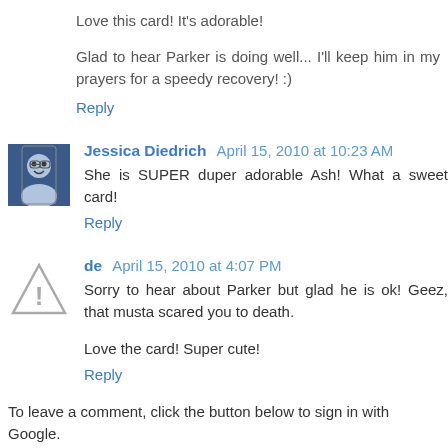Love this card! It's adorable!
Glad to hear Parker is doing well... I'll keep him in my prayers for a speedy recovery! :)
Reply
Jessica Diedrich April 15, 2010 at 10:23 AM
She is SUPER duper adorable Ash! What a sweet card!
Reply
de April 15, 2010 at 4:07 PM
Sorry to hear about Parker but glad he is ok! Geez, that musta scared you to death.
Love the card! Super cute!
Reply
To leave a comment, click the button below to sign in with Google.